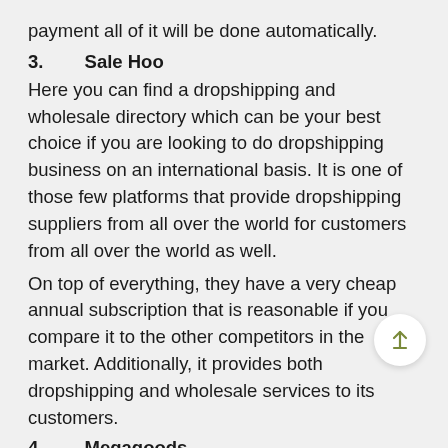payment all of it will be done automatically.
3.      Sale Hoo
Here you can find a dropshipping and wholesale directory which can be your best choice if you are looking to do dropshipping business on an international basis. It is one of those few platforms that provide dropshipping suppliers from all over the world for customers from all over the world as well.
On top of everything, they have a very cheap annual subscription that is reasonable if you compare it to the other competitors in the market. Additionally, it provides both dropshipping and wholesale services to its customers.
4.      Megagoods
If your dropshipping store's domain is restricted to electronics and the customer domain is restricted to the USA only then it might be the best choice for you. It is a company that has its electronics